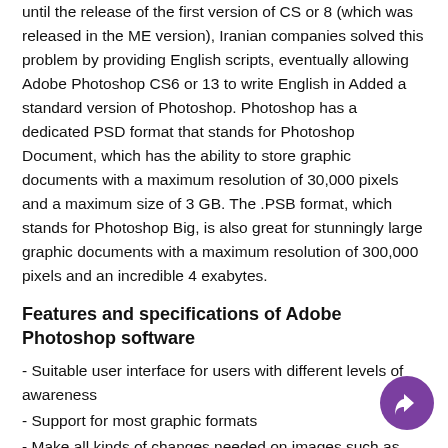until the release of the first version of CS or 8 (which was released in the ME version), Iranian companies solved this problem by providing English scripts, eventually allowing Adobe Photoshop CS6 or 13 to write English in Added a standard version of Photoshop. Photoshop has a dedicated PSD format that stands for Photoshop Document, which has the ability to store graphic documents with a maximum resolution of 30,000 pixels and a maximum size of 3 GB. The .PSB format, which stands for Photoshop Big, is also great for stunningly large graphic documents with a maximum resolution of 300,000 pixels and an incredible 4 exabytes.
Features and specifications of Adobe Photoshop software
- Suitable user interface for users with different levels of awareness
- Support for most graphic formats
- Make all kinds of changes needed on images such as resizing, changing color, cropping part of the image, applying ready-made filters with full settings and